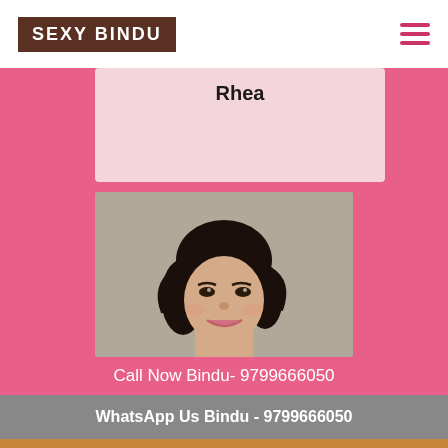SEXY BINDU
Rhea
[Figure (photo): Portrait photo of a young woman with dark hair, smiling, set against a light background.]
Call Now Bindu- 9799666050
WhatsApp Us Bindu - 9799666050